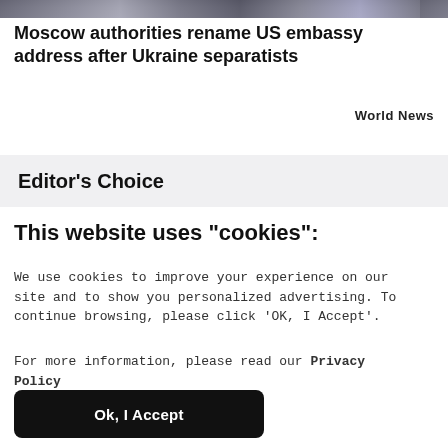[Figure (photo): Partial image strip at top of page showing news article with blurred photo]
Moscow authorities rename US embassy address after Ukraine separatists
World News
Editor's Choice
This website uses "cookies":
We use cookies to improve your experience on our site and to show you personalized advertising. To continue browsing, please click 'OK, I Accept'.
For more information, please read our Privacy Policy
Ok, I Accept